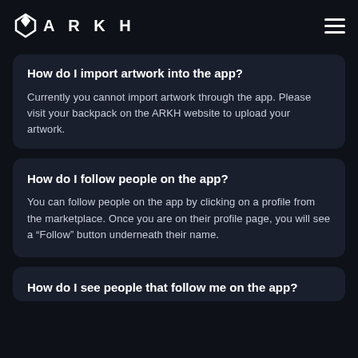ARKH
How do I import artwork into the app?
Currently you cannot import artwork through the app. Please visit your backpack on the ARKH website to upload your artwork.
How do I follow people on the app?
You can follow people on the app by clicking on a profile from the marketplace. Once you are on their profile page, you will see a “Follow” button underneath their name.
How do I see people that follow me on the app?